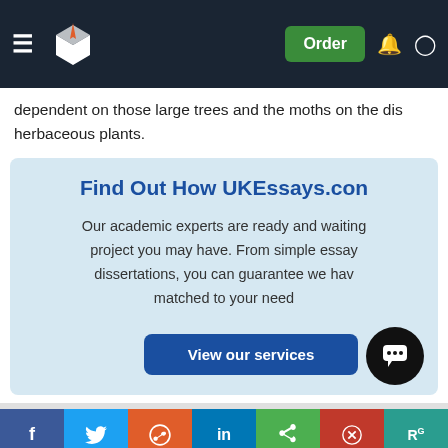UKEssays navigation bar with Order button
dependent on those large trees and the moths on the dis herbaceous plants.
[Figure (infographic): Light blue promotional box for UKEssays.com with title 'Find Out How UKEssays.com Can Help You!', body text about academic experts, and a 'View our services' button]
Another deciduous f several m families of habita